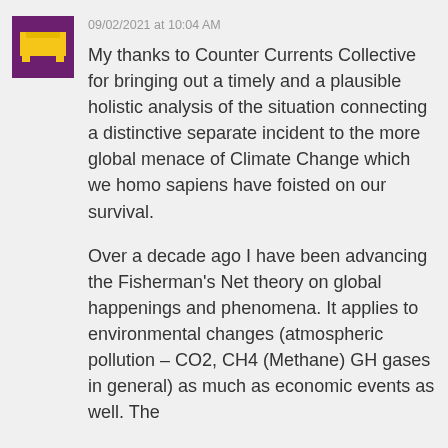[Figure (illustration): Pixel art avatar icon — yellow pixel-art sofa/couch shape on a dark purple/maroon square background]
09/02/2021 at 10:04 AM
My thanks to Counter Currents Collective for bringing out a timely and a plausible holistic analysis of the situation connecting a distinctive separate incident to the more global menace of Climate Change which we homo sapiens have foisted on our survival.
Over a decade ago I have been advancing the Fisherman's Net theory on global happenings and phenomena. It applies to environmental changes (atmospheric pollution – CO2, CH4 (Methane) GH gases in general) as much as economic events as well. The